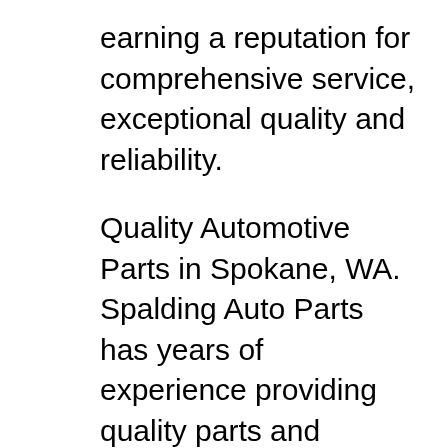earning a reputation for comprehensive service, exceptional quality and reliability.
Quality Automotive Parts in Spokane, WA. Spalding Auto Parts has years of experience providing quality parts and friendly service. Located on 50 acres in the City of Spokane Valley, we offer a wide range of quality used auto parts: everything from body parts (such as hoods and fenders) to engine parts, suspension components, and transmissions. Write Model Number From Box Here: Portable System Owners Manual Customer Service Center • N53 W24700 South Corporate Circle • Sussex, WI 53089 • U.S.A. This manual